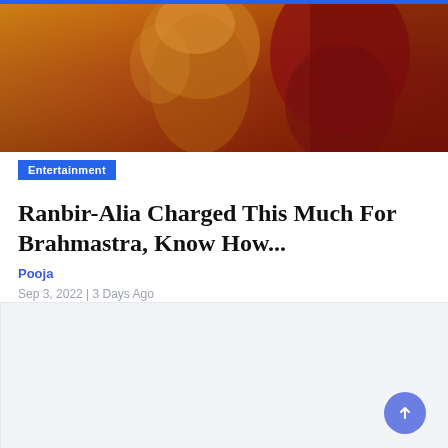[Figure (photo): Hero image showing movie promotional material with warm orange and red tones, appears to be from Bollywood film Brahmastra]
Entertainment
Ranbir-Alia Charged This Much For Brahmastra, Know How...
Pooja
Sep 3, 2022 | 3 Days Ago
[Figure (other): Advertisement placeholder block with light gray background]